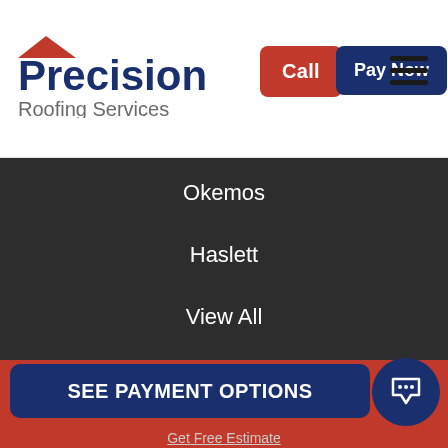[Figure (logo): Precision Roofing Services logo with red roof accent over the P]
Call
Pay Now
Okemos
Haslett
View All
COMPANY
About
Blog
Offers
SEE PAYMENT OPTIONS
Get Free Estimate